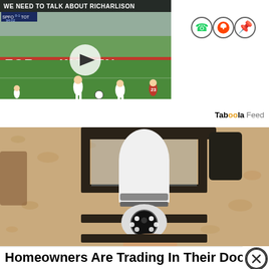[Figure (screenshot): Video thumbnail of soccer match with title 'We Need To Talk About Richarlison' and play button overlay]
[Figure (screenshot): Social share icons: WhatsApp, Reddit, Pinterest]
Tabôôla Feed
[Figure (photo): Photo of a smart security camera bulb installed in an outdoor wall lantern fixture against a textured stucco wall]
Homeowners Are Trading In Their Doo...